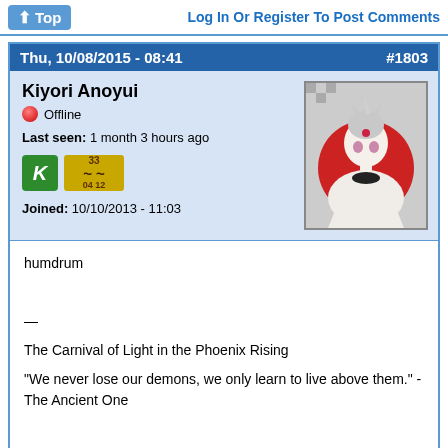Top | Log In Or Register To Post Comments
Thu, 10/08/2015 - 08:41  #1803
Kiyori Anoyui
Offline
Last seen: 1 month 3 hours ago
Joined: 10/10/2013 - 11:03
[Figure (illustration): Anime-style character avatar with white/grey hair and red circle background]
humdrum

—

The Carnival of Light in the Phoenix Rising
"We never lose our demons, we only learn to live above them." - The Ancient One

Avatar by lilshironeko